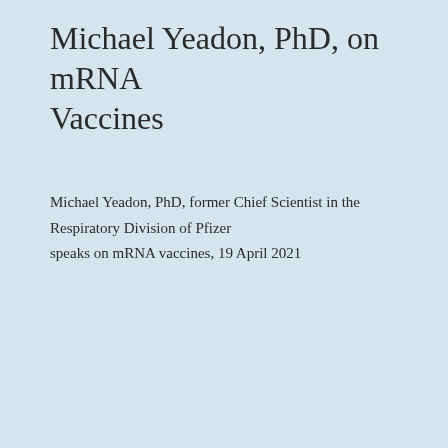Michael Yeadon, PhD, on mRNA Vaccines
Michael Yeadon, PhD, former Chief Scientist in the Respiratory Division of Pfizer speaks on mRNA vaccines, 19 April 2021
[Figure (screenshot): Embedded video player showing a man speaking to the camera in a home setting with a glass door visible on the left. The video player shows a red play button overlay in the center and a controls bar at the bottom with timestamp 00:00.]